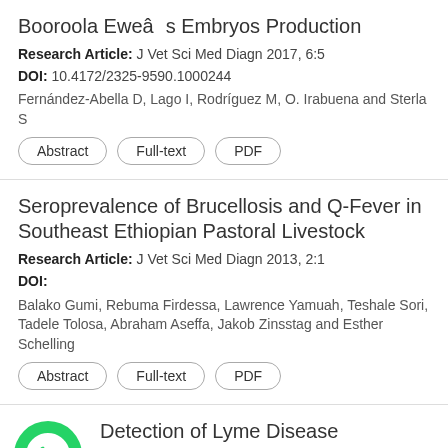Booroola Eweâ€™s Embryos Production
Research Article: J Vet Sci Med Diagn 2017, 6:5
DOI: 10.4172/2325-9590.1000244
Fernández-Abella D, Lago I, Rodríguez M, O. Irabuena and Sterla S
Seroprevalence of Brucellosis and Q-Fever in Southeast Ethiopian Pastoral Livestock
Research Article: J Vet Sci Med Diagn 2013, 2:1
DOI:
Balako Gumi, Rebuma Firdessa, Lawrence Yamuah, Teshale Sori, Tadele Tolosa, Abraham Aseffa, Jakob Zinsstag and Esther Schelling
Detection of Lyme Disease Spirochete lia burgdorferi in Ticks Collected from a Raptor in Canada
Research Article: J Vet Sci Med Di...
[Figure (illustration): WhatsApp green phone icon]